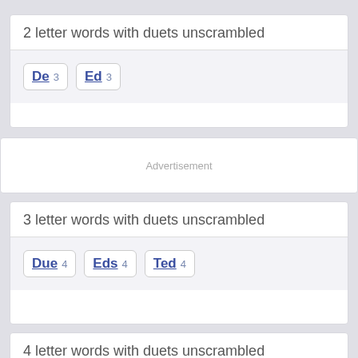2 letter words with duets unscrambled
De 3
Ed 3
Advertisement
3 letter words with duets unscrambled
Due 4
Eds 4
Ted 4
4 letter words with duets unscrambled